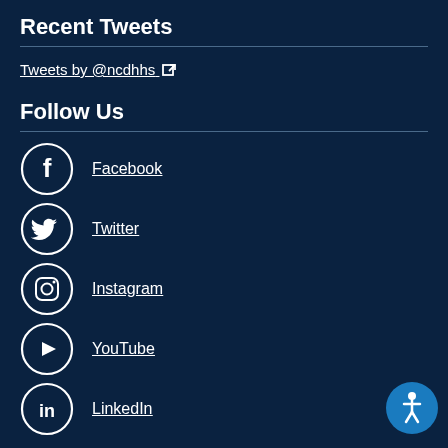Recent Tweets
Tweets by @ncdhhs
Follow Us
Facebook
Twitter
Instagram
YouTube
LinkedIn
[Figure (illustration): Accessibility icon button (blue circle with white human figure)]